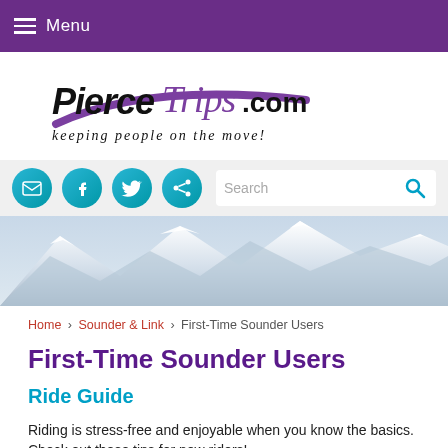Menu
[Figure (logo): PierceTrips.com logo with tagline 'keeping people on the move!' and purple swoosh graphic]
[Figure (infographic): Social media icons (email, Facebook, Twitter, share) and search bar]
[Figure (photo): Snow-capped mountain range hero banner image]
Home › Sounder & Link › First-Time Sounder Users
First-Time Sounder Users
Ride Guide
Riding is stress-free and enjoyable when you know the basics. Check out these tips for new riders!